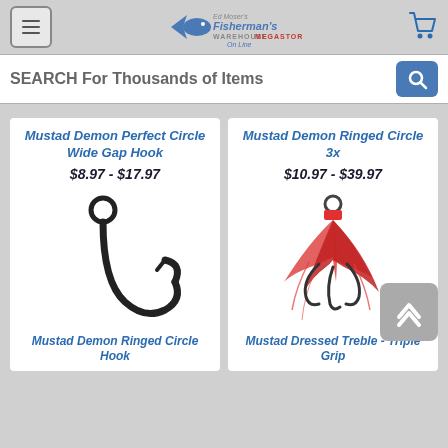Fisherman's Warehouse Megastore On Line
SEARCH For Thousands of Items
Mustad Demon Perfect Circle Wide Gap Hook
$8.97 - $17.97
Mustad Demon Ringed Circle 3x
$10.97 - $39.97
[Figure (photo): Black circle fishing hook with ring - Mustad Demon Ringed Circle Hook]
[Figure (photo): Red dressed treble hook with feathers - Mustad Dressed Treble Triple Grip]
Mustad Demon Ringed Circle Hook
Mustad Dressed Treble - Triple Grip